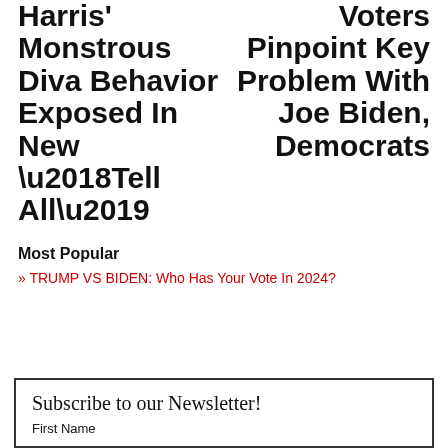Harris' Monstrous Diva Behavior Exposed In New ‘Tell All’
Voters Pinpoint Key Problem With Joe Biden, Democrats
Most Popular
» TRUMP VS BIDEN: Who Has Your Vote In 2024?
Subscribe to our Newsletter!
First Name